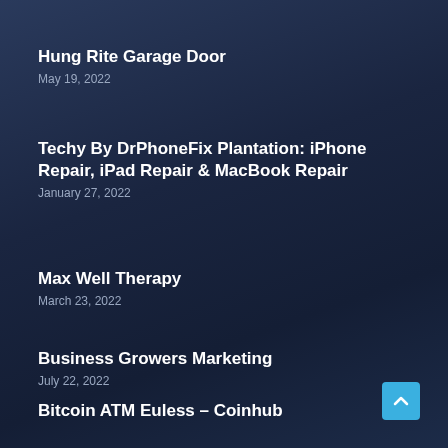Hung Rite Garage Door
May 19, 2022
Techy By DrPhoneFix Plantation: iPhone Repair, iPad Repair & MacBook Repair
January 27, 2022
Max Well Therapy
March 23, 2022
Business Growers Marketing
July 22, 2022
Bitcoin ATM Euless – Coinhub